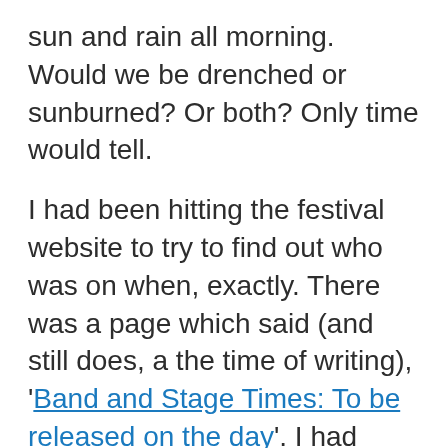sun and rain all morning. Would we be drenched or sunburned? Or both? Only time would tell.
I had been hitting the festival website to try to find out who was on when, exactly. There was a page which said (and still does, a the time of writing), 'Band and Stage Times: To be released on the day'. I had taken that to mean, '… will be announced on the website on the day'. I did wonder about how much use that would be, considering many people would be getting on